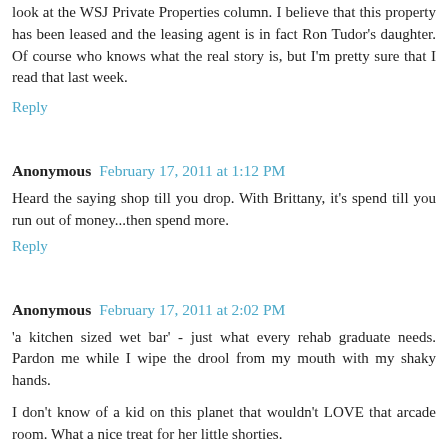look at the WSJ Private Properties column. I believe that this property has been leased and the leasing agent is in fact Ron Tudor's daughter. Of course who knows what the real story is, but I'm pretty sure that I read that last week.
Reply
Anonymous February 17, 2011 at 1:12 PM
Heard the saying shop till you drop. With Brittany, it's spend till you run out of money...then spend more.
Reply
Anonymous February 17, 2011 at 2:02 PM
'a kitchen sized wet bar' - just what every rehab graduate needs. Pardon me while I wipe the drool from my mouth with my shaky hands.
I don't know of a kid on this planet that wouldn't LOVE that arcade room. What a nice treat for her little shorties.